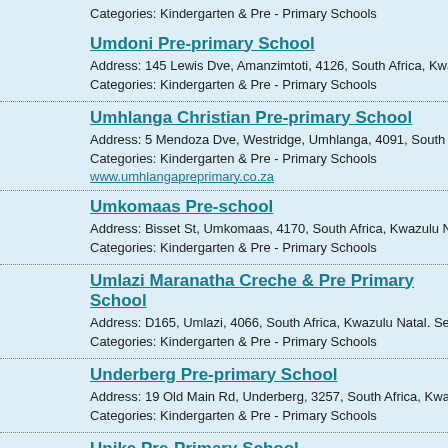Categories: Kindergarten & Pre - Primary Schools
Umdoni Pre-primary School
Address: 145 Lewis Dve, Amanzimtoti, 4126, South Africa, Kwazulu Natal. Se
Categories: Kindergarten & Pre - Primary Schools
Umhlanga Christian Pre-primary School
Address: 5 Mendoza Dve, Westridge, Umhlanga, 4091, South Africa, Kwazulu
Categories: Kindergarten & Pre - Primary Schools
www.umhlangapreprimary.co.za
Umkomaas Pre-school
Address: Bisset St, Umkomaas, 4170, South Africa, Kwazulu Natal. See full a
Categories: Kindergarten & Pre - Primary Schools
Umlazi Maranatha Creche & Pre Primary School
Address: D165, Umlazi, 4066, South Africa, Kwazulu Natal. See full address
Categories: Kindergarten & Pre - Primary Schools
Underberg Pre-primary School
Address: 19 Old Main Rd, Underberg, 3257, South Africa, Kwazulu Natal. Se
Categories: Kindergarten & Pre - Primary Schools
Unike Pre-Primary School